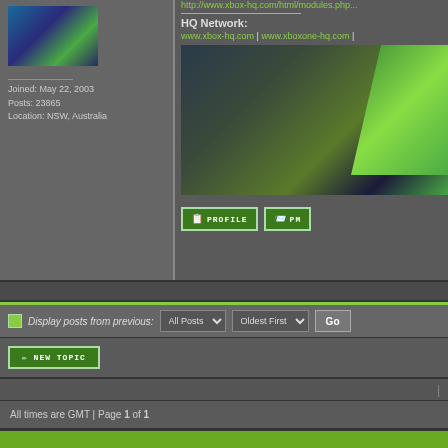[Figure (screenshot): User avatar - colorful Xbox-themed image]
Joined: May 22, 2003
Posts: 23865
Location: NSW, Australia
http://www.xbox-hq.com/html/modules.php...
HQ Network:
www.xbox-hq.com | www.xboxone-hq.com |
[Figure (photo): Xbox banner image with green Xbox logo]
[Figure (screenshot): PROFILE button]
[Figure (screenshot): PM button]
Display posts from previous: All Posts  Oldest First  Go
[Figure (screenshot): NEW TOPIC button]
All times are GMT | Page 1 of 1
You cannot post new topics in this forum
You cannot reply to topics in this forum
You cannot edit your posts in this forum
You cannot delete your posts in this forum
You cannot vote in polls in this forum